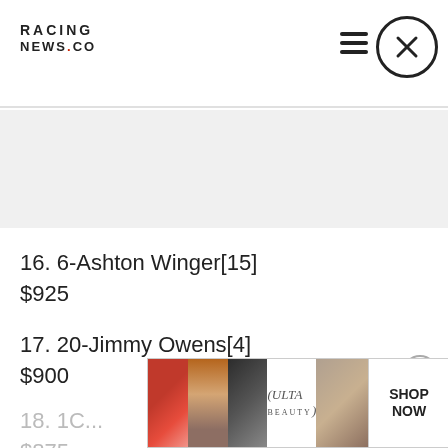RACING NEWS.CO
[Figure (other): Gray advertisement banner placeholder area]
16. 6-Ashton Winger[15]
$925
17. 20-Jimmy Owens[4]
$900
18. 1C... $875...
[Figure (other): Ulta Beauty advertisement banner with makeup images and SHOP NOW button]